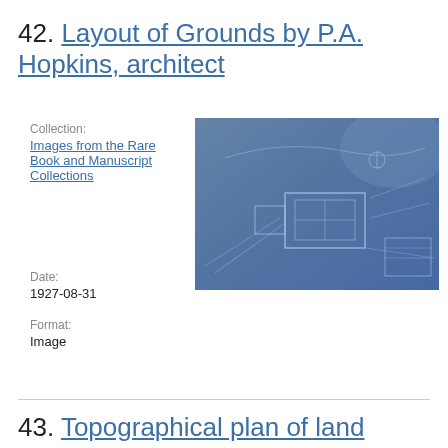42. Layout of Grounds by P.A. Hopkins, architect
Collection:
Images from the Rare Book and Manuscript Collections
Date:
1927-08-31
Format:
Image
[Figure (photo): Blueprint/architectural drawing showing a layout of grounds, rendered in blue tones with white lines indicating a site plan with structures and pathways.]
43. Topographical plan of land